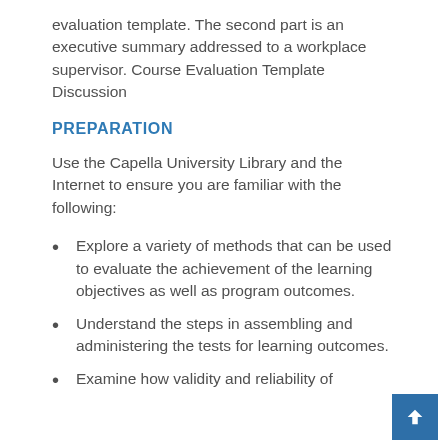evaluation template. The second part is an executive summary addressed to a workplace supervisor. Course Evaluation Template Discussion
PREPARATION
Use the Capella University Library and the Internet to ensure you are familiar with the following:
Explore a variety of methods that can be used to evaluate the achievement of the learning objectives as well as program outcomes.
Understand the steps in assembling and administering the tests for learning outcomes.
Examine how validity and reliability of